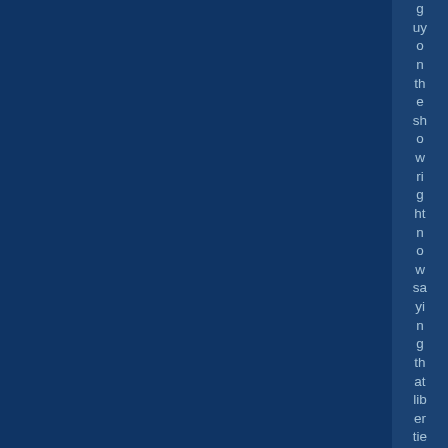guy on the show right now saying that liberties in this cou